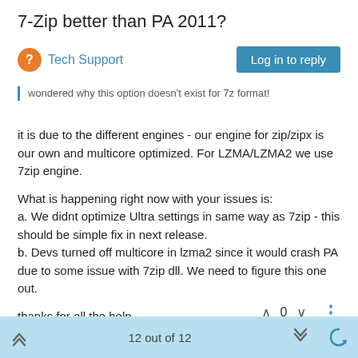7-Zip better than PA 2011?
Tech Support
wondered why this option doesn't exist for 7z format!
it is due to the different engines - our engine for zip/zipx is our own and multicore optimized. For LZMA/LZMA2 we use 7zip engine.

What is happening right now with your issues is:
a. We didnt optimize Ultra settings in same way as 7zip - this should be simple fix in next release.
b. Devs turned off multicore in lzma2 since it would crash PA due to some issue with 7zip dll. We need to figure this one out.

thanks for all the help.
12 out of 12